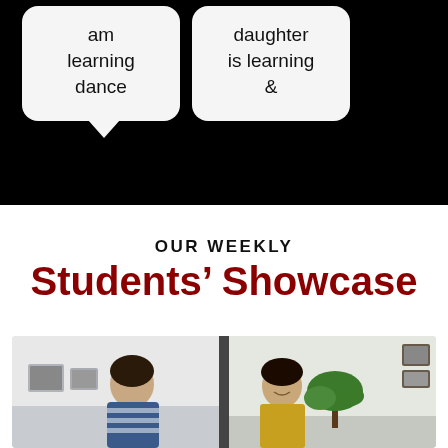am learning dance
daughter is learning &
OUR WEEKLY
Students' Showcase
[Figure (photo): Two women in a split-screen video frame, one on left in a striped top in a room with pictures on the wall, one on right in a yellow outfit with a plant and photo frames in the background]